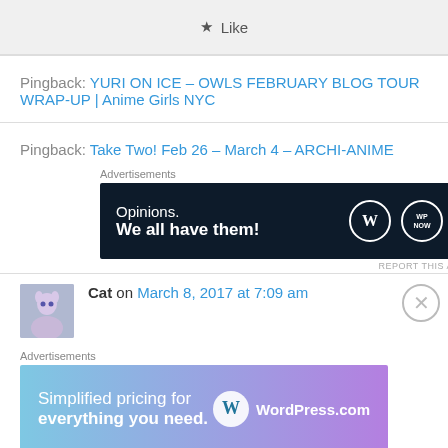[Figure (other): Like button bar with star icon]
Pingback: YURI ON ICE – OWLS FEBRUARY BLOG TOUR WRAP-UP | Anime Girls NYC
Pingback: Take Two! Feb 26 – March 4 – ARCHI-ANIME
[Figure (other): Advertisement banner: Opinions. We all have them! with WordPress and WP Now logos on dark background]
Cat on March 8, 2017 at 7:09 am
[Figure (other): Advertisement banner: Simplified pricing for everything you need. WordPress.com with gradient background]